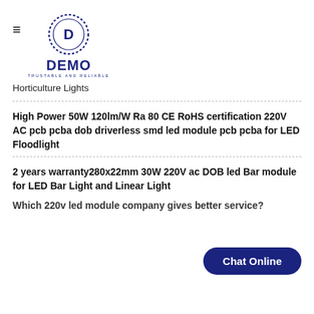[Figure (logo): DEMO brand logo with circular dotted ring icon and text 'DEMO TRUSTABLE AND RELIABLE']
Horticulture Lights
High Power 50W 120lm/W Ra 80 CE RoHS certification 220V AC pcb pcba dob driverless smd led module pcb pcba for LED Floodlight
2 years warranty280x22mm 30W 220V ac DOB led Bar module for LED Bar Light and Linear Light
Chat Online
Which 220v led module company gives better service?